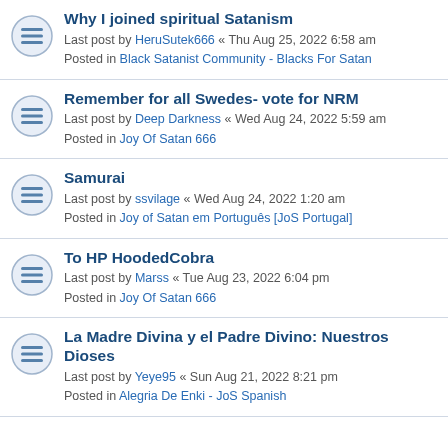Why I joined spiritual Satanism
Last post by HeruSutek666 « Thu Aug 25, 2022 6:58 am
Posted in Black Satanist Community - Blacks For Satan
Remember for all Swedes- vote for NRM
Last post by Deep Darkness « Wed Aug 24, 2022 5:59 am
Posted in Joy Of Satan 666
Samurai
Last post by ssvilage « Wed Aug 24, 2022 1:20 am
Posted in Joy of Satan em Português [JoS Portugal]
To HP HoodedCobra
Last post by Marss « Tue Aug 23, 2022 6:04 pm
Posted in Joy Of Satan 666
La Madre Divina y el Padre Divino: Nuestros Dioses
Last post by Yeye95 « Sun Aug 21, 2022 8:21 pm
Posted in Alegria De Enki - JoS Spanish